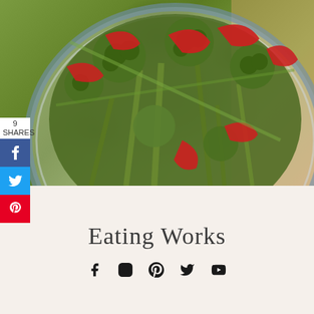[Figure (photo): A blue and white ceramic plate with roasted broccoli and sliced red peppers on a burlap background]
9
SHARES
Eating Works
[Figure (infographic): Social media icons row: Facebook, Instagram, Pinterest, Twitter, YouTube]